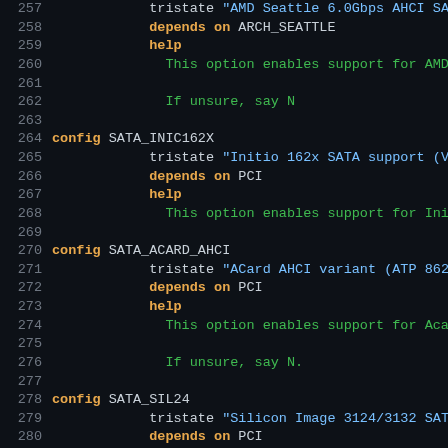[Figure (screenshot): Linux kernel Kconfig source code snippet showing config entries for SATA drivers: SATA_INIC162X, SATA_ACARD_AHCI, and SATA_SIL24, with tristate, depends on, and help fields. Dark terminal background with syntax highlighting.]